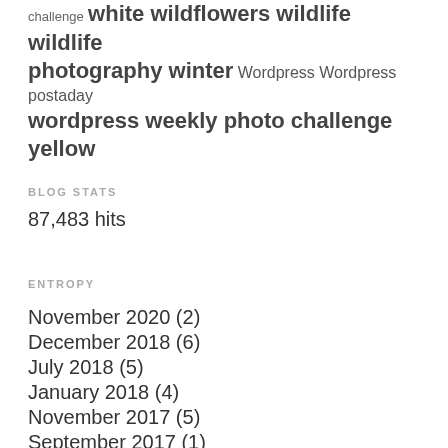challenge white wildflowers wildlife wildlife photography winter Wordpress Wordpress postaday wordpress weekly photo challenge yellow
BLOG STATS
87,483 hits
ENTROPY
November 2020 (2)
December 2018 (6)
July 2018 (5)
January 2018 (4)
November 2017 (5)
September 2017 (1)
July 2017 (2)
June 2017 (7)